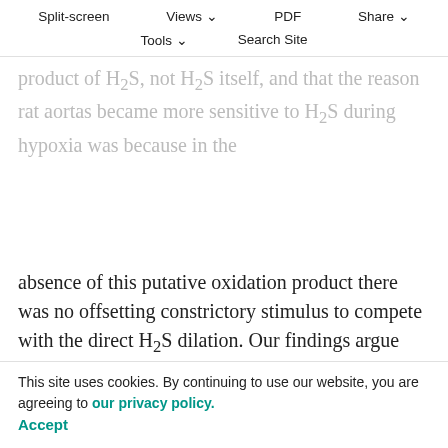the H2S-mediated vasoconstriction of aortas bubbled with room air was due to an oxidation product of H2S, not H2S itself, and that the reason rat aortas became more sensitive to H2S during hypoxia was because in the absence of this putative oxidation product there was no offsetting constrictory stimulus to compete with the direct H2S dilation. Our findings argue against these hypotheses. First, H2S only constricted hagfish and lamprey dorsal aortas and therefore the increased sensitivity observed at low P O2 could not be due to removal of a competing(in this case dilatory) process. Second, it seems unlikely that production of this hypothetical vasoconstrictory oxidation product of H2S would increase when the vessels are hypoxic, but all of our data suggest that H2S does think more likely to cause vasoconstriction, and increased sensitivity, and that is consistent with our(Olson et al.,
Split-screen | Views | PDF | Share | Tools | Search Site
This site uses cookies. By continuing to use our website, you are agreeing to our privacy policy. Accept